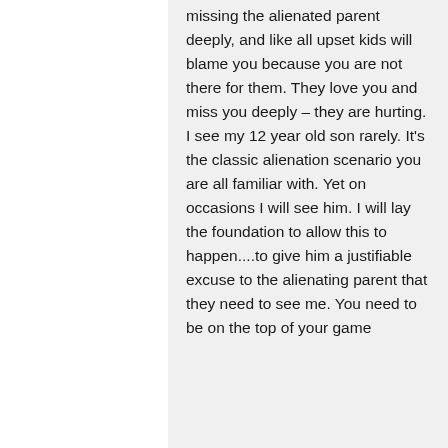missing the alienated parent deeply, and like all upset kids will blame you because you are not there for them. They love you and miss you deeply – they are hurting. I see my 12 year old son rarely. It's the classic alienation scenario you are all familiar with. Yet on occasions I will see him. I will lay the foundation to allow this to happen....to give him a justifiable excuse to the alienating parent that they need to see me. You need to be on the top of your game